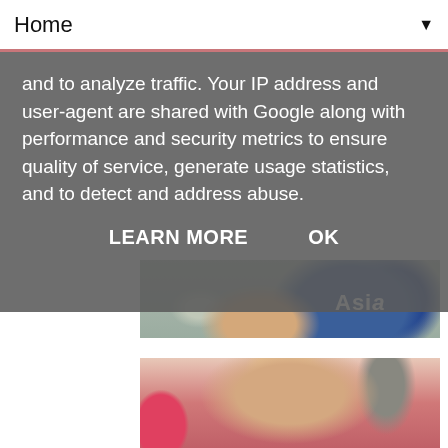Home ▼
and to analyze traffic. Your IP address and user-agent are shared with Google along with performance and security metrics to ensure quality of service, generate usage statistics, and to detect and address abuse.
LEARN MORE   OK
[Figure (photo): Partial photo showing people at an outdoor event with a blue sign showing 'Asia']
[Figure (photo): Baby sitting on pink tablecloth covered in chocolate cake, with a pink balloon nearby]